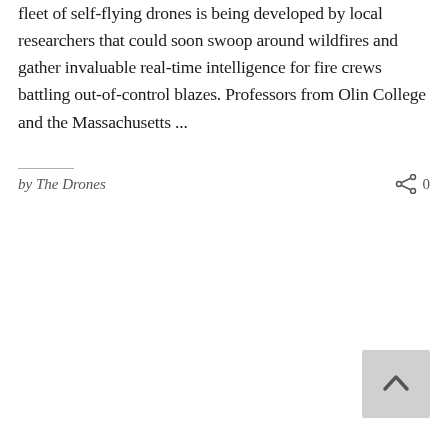fleet of self-flying drones is being developed by local researchers that could soon swoop around wildfires and gather invaluable real-time intelligence for fire crews battling out-of-control blazes. Professors from Olin College and the Massachusetts ...
by The Drones
0
[Figure (other): Back to top arrow button — a light grey rounded square button with an upward-pointing chevron/caret arrow in the bottom right of the page]